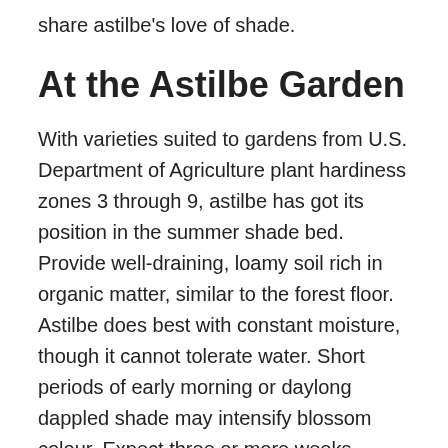share astilbe's love of shade.
At the Astilbe Garden
With varieties suited to gardens from U.S. Department of Agriculture plant hardiness zones 3 through 9, astilbe has got its position in the summer shade bed. Provide well-draining, loamy soil rich in organic matter, similar to the forest floor. Astilbe does best with constant moisture, though it cannot tolerate water. Short periods of early morning or daylong dappled shade may intensify blossom colour. Expect three or more weeks